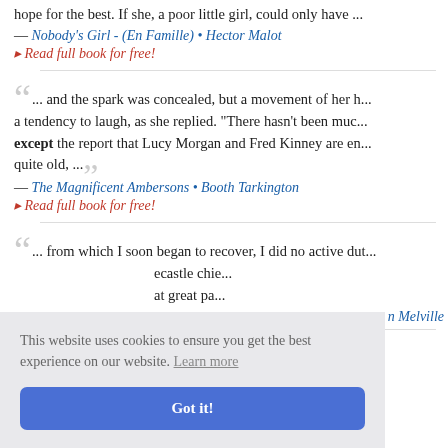hope for the best. If she, a poor little girl, could only have ...
— Nobody's Girl - (En Famille) • Hector Malot
▸ Read full book for free!
... and the spark was concealed, but a movement of her h... a tendency to laugh, as she replied. "There hasn't been muc... except the report that Lucy Morgan and Fred Kinney are en... quite old, ...
— The Magnificent Ambersons • Booth Tarkington
▸ Read full book for free!
... from which I soon began to recover, I did no active dut... castle chie... at great pa...
n Melville
... all major military operations had ceased. Except for th...
This website uses cookies to ensure you get the best experience on our website. Learn more
Got it!